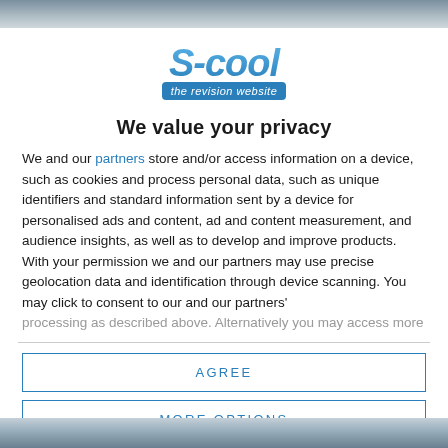[Figure (logo): S-cool the revision website logo in blue stylized text]
We value your privacy
We and our partners store and/or access information on a device, such as cookies and process personal data, such as unique identifiers and standard information sent by a device for personalised ads and content, ad and content measurement, and audience insights, as well as to develop and improve products. With your permission we and our partners may use precise geolocation data and identification through device scanning. You may click to consent to our and our partners' processing as described above. Alternatively you may access more